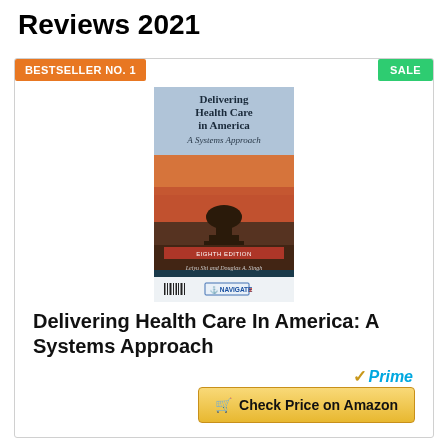Reviews 2021
[Figure (illustration): Book product card with orange BESTSELLER NO. 1 badge top-left, green SALE badge top-right, book cover image of 'Delivering Health Care in America: A Systems Approach', an Amazon Prime logo, and a yellow 'Check Price on Amazon' button]
Delivering Health Care In America: A Systems Approach
✓Prime
Check Price on Amazon